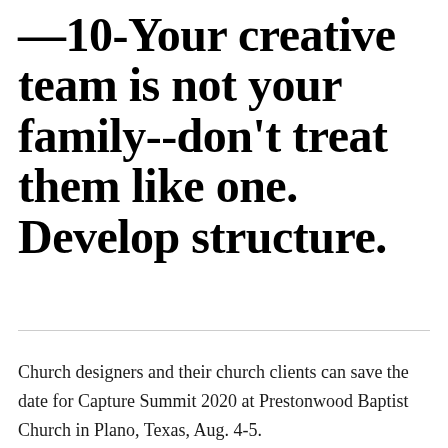—10-Your creative team is not your family--don't treat them like one. Develop structure.
Church designers and their church clients can save the date for Capture Summit 2020 at Prestonwood Baptist Church in Plano, Texas, Aug. 4-5.